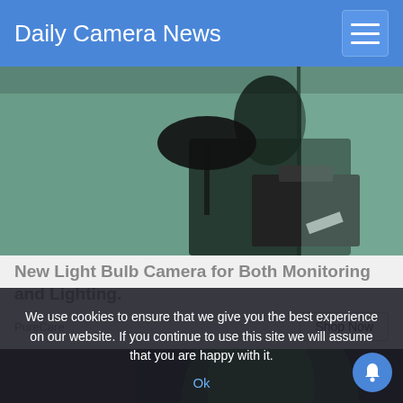Daily Camera News
[Figure (photo): Security camera footage showing a person with dark clothing and a briefcase near a door]
New Light Bulb Camera for Both Monitoring and Lighting.
PureCare
[Figure (photo): Dark image with green tinted figure, Camp Lejeune text at bottom]
We use cookies to ensure that we give you the best experience on our website. If you continue to use this site we will assume that you are happy with it.
Ok